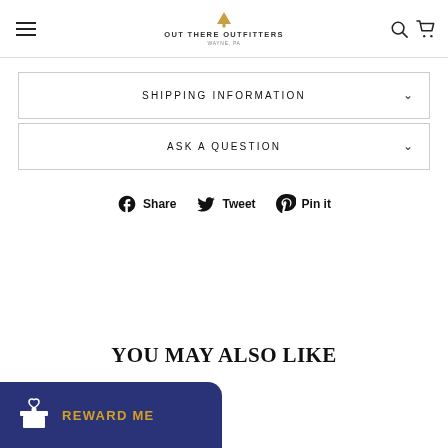[Figure (logo): Out There Outfitters logo with tree icon and text 'OUT THERE OUTFITTERS WAYNE, PA']
SHIPPING INFORMATION
ASK A QUESTION
Share  Tweet  Pin it
YOU MAY ALSO LIKE
REWARD ME